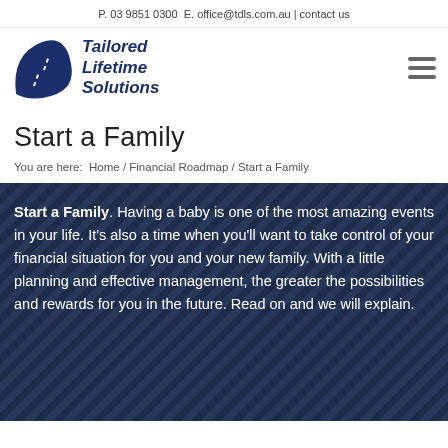P. 03 9851 0300  E. office@tdls.com.au | contact us
[Figure (logo): Tailored Lifetime Solutions logo: dark navy road/wave arc shape with dashed lines, beside italic bold text reading 'Tailored Lifetime Solutions']
Start a Family
You are here:  Home / Financial Roadmap / Start a Family
Start a Family. Having a baby is one of the most amazing events in your life. It's also a time when you'll want to take control of your financial situation for you and your new family. With a little planning and effective management, the greater the possibilities and rewards for you in the future. Read on and we will explain.